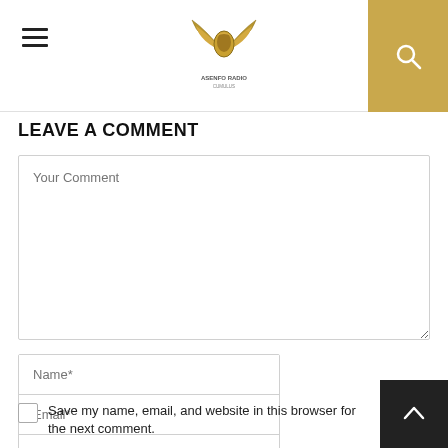Asenfo Radio - hamburger menu, logo, search
LEAVE A COMMENT
Your Comment (textarea)
Name*
Email*
Website
Save my name, email, and website in this browser for the next comment.